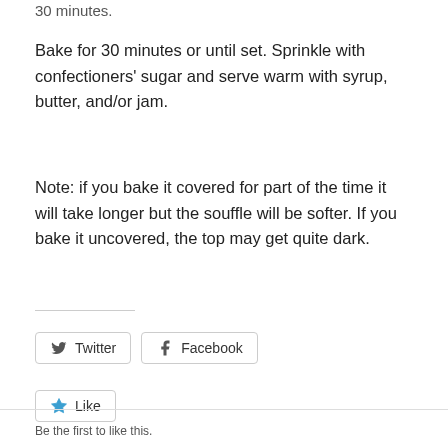30 minutes.
Bake for 30 minutes or until set. Sprinkle with confectioners’ sugar and serve warm with syrup, butter, and/or jam.
Note: if you bake it covered for part of the time it will take longer but the souffle will be softer. If you bake it uncovered, the top may get quite dark.
[Figure (other): Social sharing buttons for Twitter and Facebook, and a Like button with 'Be the first to like this.' text below.]